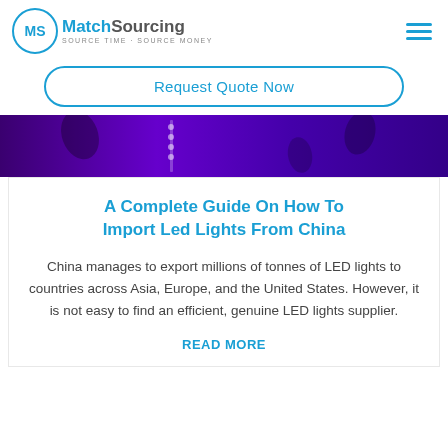MatchSourcing SOURCE TIME · SOURCE MONEY
Request Quote Now
[Figure (photo): Purple/violet LED lighting banner image]
A Complete Guide On How To Import Led Lights From China
China manages to export millions of tonnes of LED lights to countries across Asia, Europe, and the United States. However, it is not easy to find an efficient, genuine LED lights supplier.
READ MORE